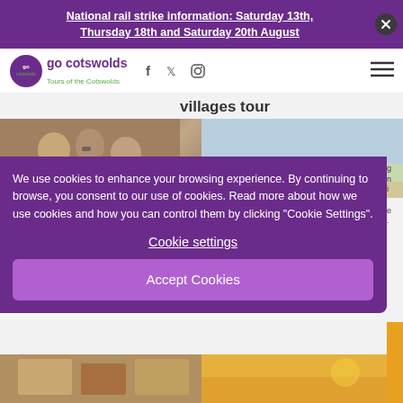National rail strike information: Saturday 13th, Thursday 18th and Saturday 20th August
[Figure (logo): Go Cotswolds logo — Tours of the Cotswolds, with social media icons (Facebook, Twitter, Instagram) and hamburger menu]
Villages tour
[Figure (photo): Photo of people drinking outdoors in the Cotswolds]
[Figure (photo): Landscape photo of Cotswolds countryside with fields and sky]
We use cookies to enhance your browsing experience. By continuing to browse, you consent to our use of cookies. Read more about how we use cookies and how you can control them by clicking "Cookie Settings".
Cookie settings
Accept Cookies
[Figure (photo): Bottom left photo — Cotswolds building]
[Figure (photo): Bottom right photo — sunset scene]